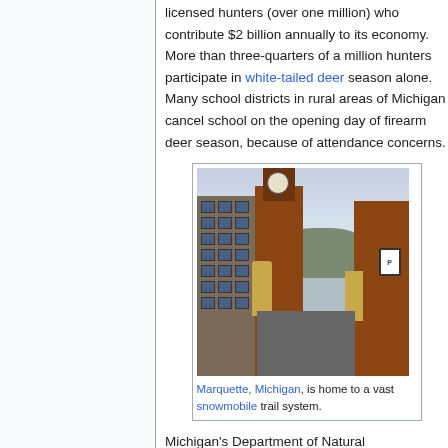licensed hunters (over one million) who contribute $2 billion annually to its economy. More than three-quarters of a million hunters participate in white-tailed deer season alone. Many school districts in rural areas of Michigan cancel school on the opening day of firearm deer season, because of attendance concerns.
[Figure (photo): Street view of downtown Marquette, Michigan showing a brick clock tower building, storefronts, autumn trees, and a hill in the background.]
Marquette, Michigan, is home to a vast snowmobile trail system.
Michigan's Department of Natural